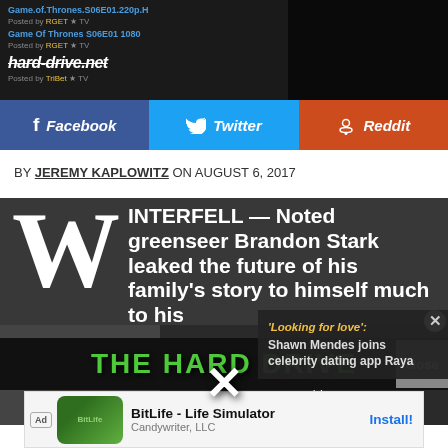[Figure (screenshot): Screenshot of torrent listings for Game of Thrones with hard-drive.net URL visible]
[Figure (infographic): Social share buttons: Facebook, Twitter, Reddit]
BY JEREMY KAPLOWITZ ON AUGUST 6, 2017
WINTERFELL — Noted greenseer Brandon Stark leaked the future of his family's story to himself much to his own dismay on Saturday night.
[Figure (photo): Video player showing media load error: The media could not be loaded, either because the server or network failed or because the format is not supported.]
[Figure (screenshot): Side promo: 'Looking for love': Shawn Mendes joins celebrity dating app Raya]
[Figure (screenshot): THE HARD DRIVE banner logo at bottom]
[Figure (screenshot): BitLife - Life Simulator ad by Candywriter, LLC with Install button]